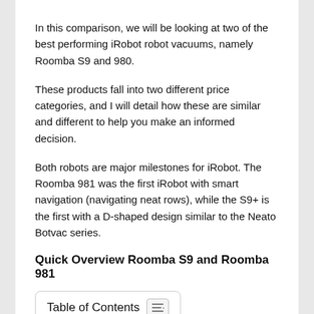In this comparison, we will be looking at two of the best performing iRobot robot vacuums, namely Roomba S9 and 980.
These products fall into two different price categories, and I will detail how these are similar and different to help you make an informed decision.
Both robots are major milestones for iRobot. The Roomba 981 was the first iRobot with smart navigation (navigating neat rows), while the S9+ is the first with a D-shaped design similar to the Neato Botvac series.
Quick Overview Roomba S9 and Roomba 981
Table of Contents
Roomba 981